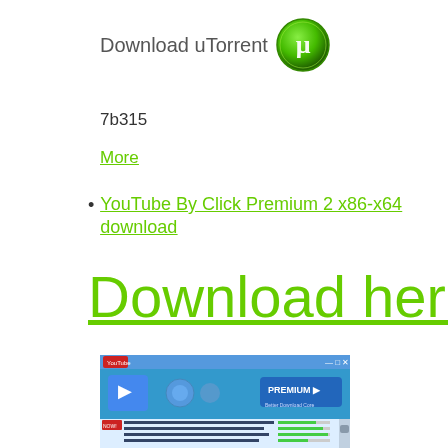Download uTorrent
7b315
More
YouTube By Click Premium 2 x86-x64 download
Download here
[Figure (screenshot): Screenshot of a YouTube By Click application window showing a video download interface with a list of video downloads in progress, featuring a blue UI with download progress bars.]